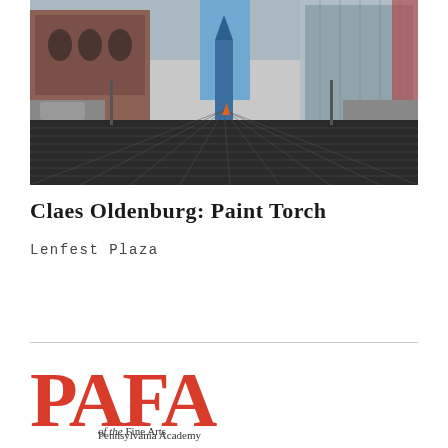[Figure (photo): Street-level photograph of an urban plaza with a grid-patterned dark pavement in the foreground, tall buildings on both sides, and a large blue sculpture visible in the center background. Red brick historic building on left, modern glass tower in center-rear.]
Claes Oldenburg: Paint Torch
Lenfest Plaza
[Figure (logo): PAFA logo — large red serif letters 'PAFA' with subtitle 'Pennsylvania Academy of the Fine Arts' in smaller text beneath, partially italic.]